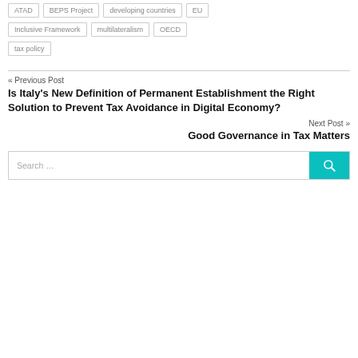ATAD
BEPS Project
developing countries
EU
Inclusive Framework
multilateralism
OECD
tax policy
« Previous Post
Is Italy's New Definition of Permanent Establishment the Right Solution to Prevent Tax Avoidance in Digital Economy?
Next Post »
Good Governance in Tax Matters
Search …